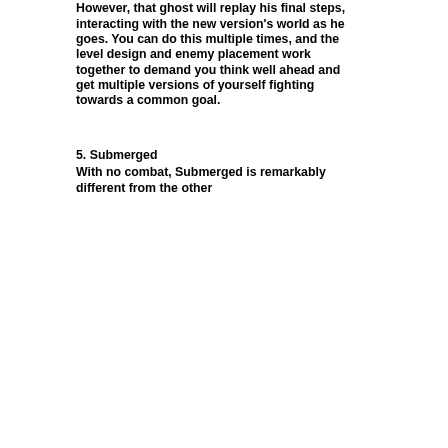However, that ghost will replay his final steps, interacting with the new version's world as he goes. You can do this multiple times, and the level design and enemy placement work together to demand you think well ahead and get multiple versions of yourself fighting towards a common goal.
5. Submerged
With no combat, Submerged is remarkably different from the other